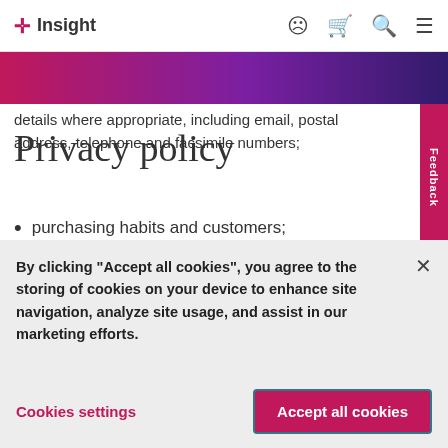Insight (logo with navigation icons)
[Figure (illustration): Horizontal gradient banner from pink/magenta on left to deep purple on right]
Privacy policy
details where appropriate, including email, postal address, telephone and facsimile numbers;
purchasing habits and customers;
customer preferences;
By clicking “Accept all cookies”, you agree to the storing of cookies on your device to enhance site navigation, analyze site usage, and assist in our marketing efforts.
Cookies settings
Accept all cookies